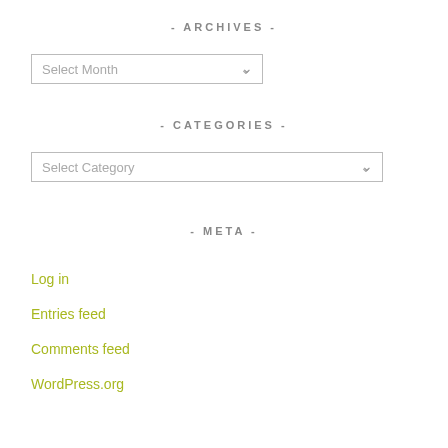- ARCHIVES -
[Figure (screenshot): Select Month dropdown widget]
- CATEGORIES -
[Figure (screenshot): Select Category dropdown widget]
- META -
Log in
Entries feed
Comments feed
WordPress.org